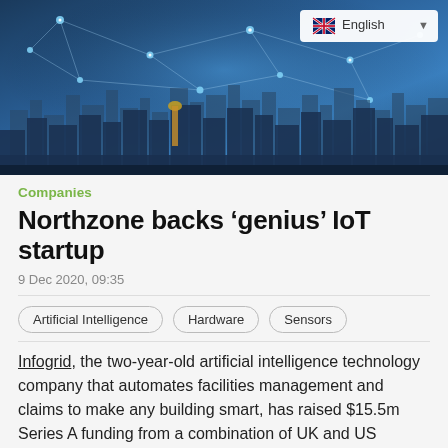[Figure (photo): Aerial view of a smart city skyline with network connectivity lines and nodes overlaid, blue tones with buildings and glowing connection dots. Language selector showing 'English' with UK flag in top right.]
Companies
Northzone backs ‘genius’ IoT startup
9 Dec 2020, 09:35
Artificial Intelligence
Hardware
Sensors
Infogrid, the two-year-old artificial intelligence technology company that automates facilities management and claims to make any building smart, has raised $15.5m Series A funding from a combination of UK and US investors.
The round was led by Nordic VC, Northzone, an early stage investor in Spotify among other techs, with participation from JLL Spark, Concrete VC, The Venture Collective